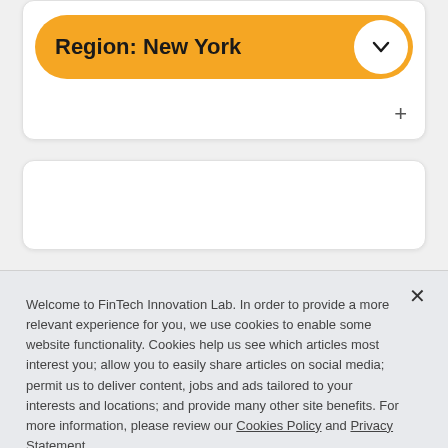[Figure (screenshot): Dropdown selector pill with orange/yellow background showing 'Region: New York' text and a chevron-down button on the right inside a white card. A plus (+) button is visible at the bottom right of the card.]
[Figure (screenshot): Second white card below the region selector, partially visible, empty content area.]
Welcome to FinTech Innovation Lab. In order to provide a more relevant experience for you, we use cookies to enable some website functionality. Cookies help us see which articles most interest you; allow you to easily share articles on social media; permit us to deliver content, jobs and ads tailored to your interests and locations; and provide many other site benefits. For more information, please review our Cookies Policy and Privacy Statement.
Cookies Settings
Accept